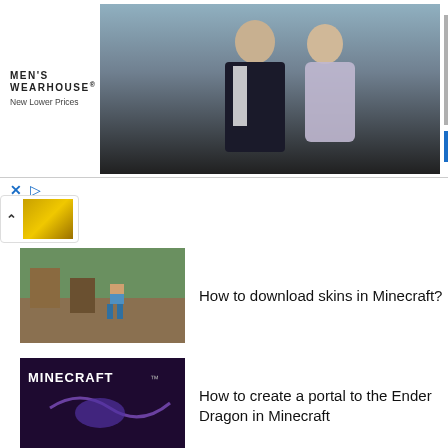[Figure (screenshot): Men's Wearhouse advertisement banner showing a couple in formal wear, a man in tuxedo, and an INFO button]
[Figure (screenshot): Minecraft game screenshot thumbnail (village/outdoor scene)]
How to download skins in Minecraft?
[Figure (screenshot): Minecraft branded thumbnail with purple/dark background]
How to create a portal to the Ender Dragon in Minecraft
[Figure (screenshot): Forge logo thumbnail - dark blue background with anvil and FORGE text]
What is Forge and how to install it in Minecraft?
[Figure (screenshot): Minecraft landscape/texture pack thumbnail]
Installing texture packs in Minecraft
[Figure (screenshot): Minecraft outdoor scene with animals thumbnail]
How to play Minecraft with a friend?